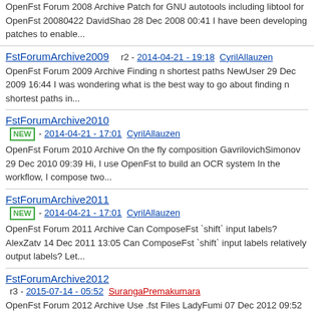OpenFst Forum 2008 Archive Patch for GNU autotools including libtool for OpenFst 20080422 DavidShao 28 Dec 2008 00:41 I have been developing patches to enable...
FstForumArchive2009 r2 - 2014-04-21 - 19:18 CyrilAllauzen OpenFst Forum 2009 Archive Finding n shortest paths NewUser 29 Dec 2009 16:44 I was wondering what is the best way to go about finding n shortest paths in...
FstForumArchive2010 NEW - 2014-04-21 - 17:01 CyrilAllauzen OpenFst Forum 2010 Archive On the fly composition GavrilovichSimonov 29 Dec 2010 09:39 Hi, I use OpenFst to build an OCR system In the workflow, I compose two...
FstForumArchive2011 NEW - 2014-04-21 - 17:01 CyrilAllauzen OpenFst Forum 2011 Archive Can ComposeFst `shift` input labels? AlexZatv 14 Dec 2011 13:05 Can ComposeFst `shift` input labels relatively output labels? Let...
FstForumArchive2012 r3 - 2015-07-14 - 05:52 SurangaPremakumara OpenFst Forum 2012 Archive Use .fst Files LadyFumi 07 Dec 2012 09:52 Hello, I would like to know how open a FST File, for example, I will use